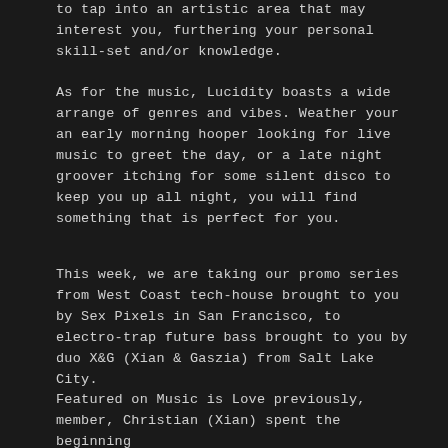to tap into an artistic area that may interest you, furthering your personal skill-set and/or knowledge.
As for the music, Lucidity boasts a wide arrange of genres and vibes. Weather your an early morning hooper looking for live music to greet the day, or a late night groover itching for some silent disco to keep you up all night, you will find something that is perfect for you.
This week, we are taking our promo series from West Coast tech-house brought to you by Sex Pixels in San Francisco, to electro-trap future bass brought to you by duo X&G (Xian & Gaszia) from Salt Lake City.
Featured on Music is Love previously, member, Christian (Xian) spent the beginning